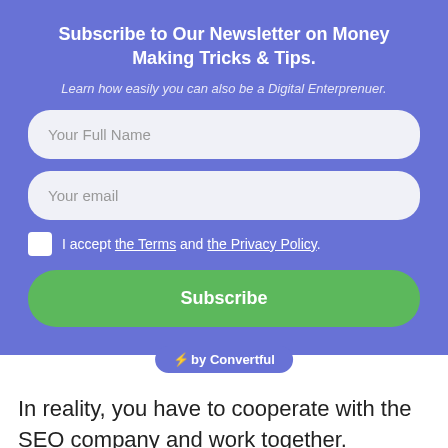Subscribe to Our Newsletter on Money Making Tricks & Tips.
Learn how easily you can also be a Digital Enterprenuer.
Your Full Name
Your email
I accept the Terms and the Privacy Policy.
Subscribe
⚡by Convertful
In reality, you have to cooperate with the SEO company and work together. Communication is the key to success when it comes to SEO, so you need to stay in touch